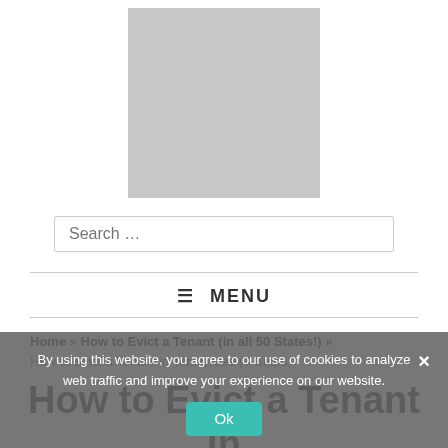[Figure (other): Gray placeholder logo image centered at top of page]
Search …
≡ MENU
Home » How to Evict a Tenant (in all 50 States!) » How to Evict a Tenant in Tennessee (7 Steps)
By using this website, you agree to our use of cookies to analyze web traffic and improve your experience on our website.
How to Evict a Tenant in